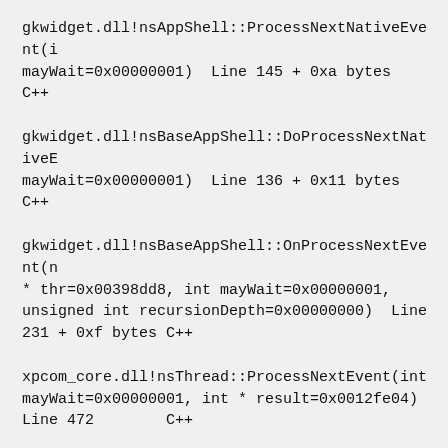gkwidget.dll!nsAppShell::ProcessNextNativeEvent(i mayWait=0x00000001)  Line 145 + 0xa bytes C++
gkwidget.dll!nsBaseAppShell::DoProcessNextNativeE mayWait=0x00000001)  Line 136 + 0x11 bytes C++
gkwidget.dll!nsBaseAppShell::OnProcessNextEvent(n * thr=0x00398dd8, int mayWait=0x00000001, unsigned int recursionDepth=0x00000000)  Line 231 + 0xf bytes C++
xpcom_core.dll!nsThread::ProcessNextEvent(int mayWait=0x00000001, int * result=0x0012fe04) Line 472        C++
xpcom_core.dll!NS_ProcessNextEvent_P(nsIThread * thread=0x00398dd8, int mayWait=0x00000001) Line 225 + 0x16 bytes  C++